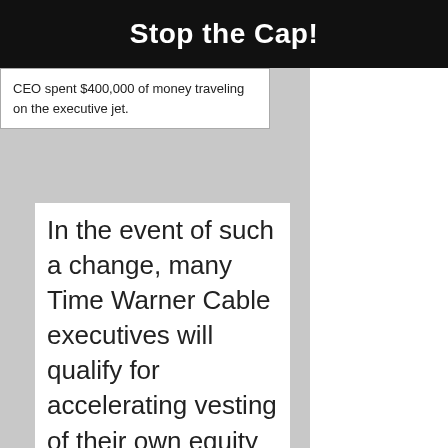Stop the Cap!
CEO spent $400,000 of money traveling on the executive jet.
In the event of such a change, many Time Warner Cable executives will qualify for accelerating vesting of their own equity awards, which the